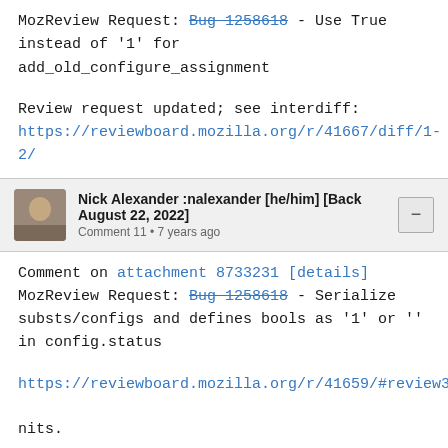MozReview Request: Bug 1258618 - Use True instead of '1' for add_old_configure_assignment
Review request updated; see interdiff:
https://reviewboard.mozilla.org/r/41667/diff/1-2/
Nick Alexander :nalexander [he/him] [Back August 22, 2022]
Comment 11 • 7 years ago
Comment on attachment 8733231 [details]
MozReview Request: Bug 1258618 - Serialize substs/configs and defines bools as '1' or '' in config.status
https://reviewboard.mozilla.org/r/41659/#review38
nits.